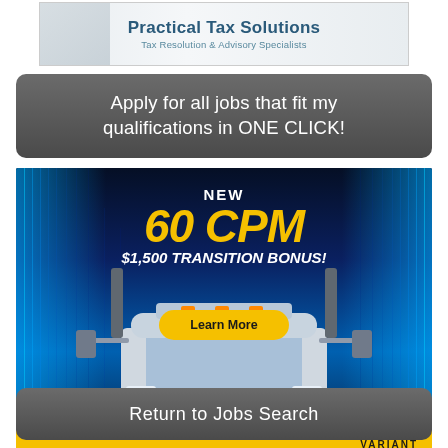[Figure (logo): Practical Tax Solutions - Tax Resolution & Advisory Specialists banner/logo]
Apply for all jobs that fit my qualifications in ONE CLICK!
[Figure (infographic): Variant trucking advertisement showing a white semi-truck with text: NEW 60 CPM, $1,500 TRANSITION BONUS!, Learn More button, and tagline REENGINEERING TRUCKING. FOR GOOD. with Variant logo]
Return to Jobs Search